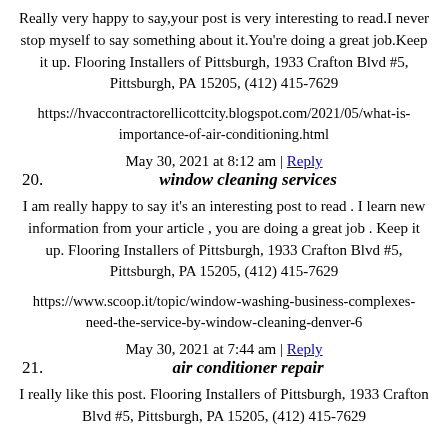Really very happy to say,your post is very interesting to read.I never stop myself to say something about it.You're doing a great job.Keep it up. Flooring Installers of Pittsburgh, 1933 Crafton Blvd #5, Pittsburgh, PA 15205, (412) 415-7629
https://hvaccontractorellicottcity.blogspot.com/2021/05/what-is-importance-of-air-conditioning.html
May 30, 2021 at 8:12 am | Reply
20. window cleaning services
I am really happy to say it's an interesting post to read . I learn new information from your article , you are doing a great job . Keep it up. Flooring Installers of Pittsburgh, 1933 Crafton Blvd #5, Pittsburgh, PA 15205, (412) 415-7629
https://www.scoop.it/topic/window-washing-business-complexes-need-the-service-by-window-cleaning-denver-6
May 30, 2021 at 7:44 am | Reply
21. air conditioner repair
I really like this post. Flooring Installers of Pittsburgh, 1933 Crafton Blvd #5, Pittsburgh, PA 15205, (412) 415-7629